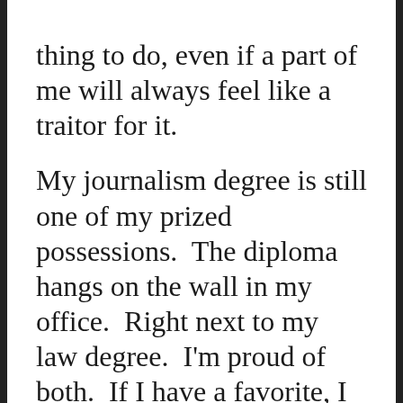thing to do, even if a part of me will always feel like a traitor for it.

My journalism degree is still one of my prized possessions.  The diploma hangs on the wall in my office.  Right next to my law degree.  I'm proud of both.  If I have a favorite, I won't admit it any more than I would admit to having a favorite child, but deep,